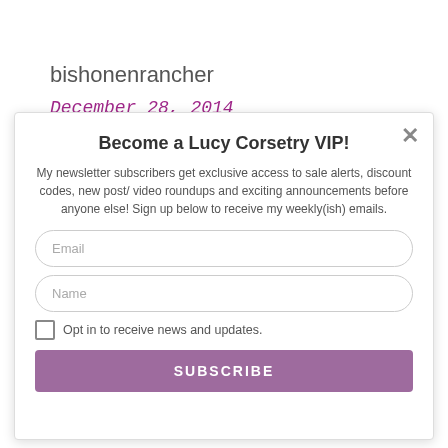bishonenrancher
December 28, 2014
Become a Lucy Corsetry VIP!
My newsletter subscribers get exclusive access to sale alerts, discount codes, new post/ video roundups and exciting announcements before anyone else! Sign up below to receive my weekly(ish) emails.
Email
Name
Opt in to receive news and updates.
SUBSCRIBE